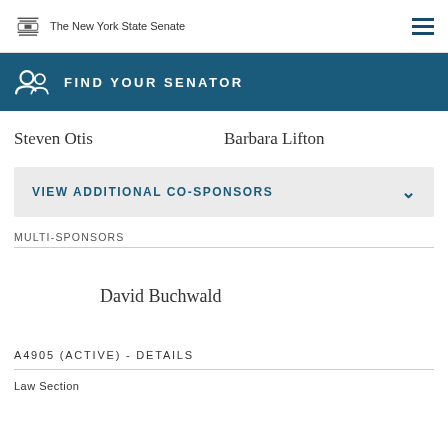The New York State Senate
FIND YOUR SENATOR
Steven Otis
Barbara Lifton
VIEW ADDITIONAL CO-SPONSORS
MULTI-SPONSORS
David Buchwald
A4905 (ACTIVE) - DETAILS
Law Section